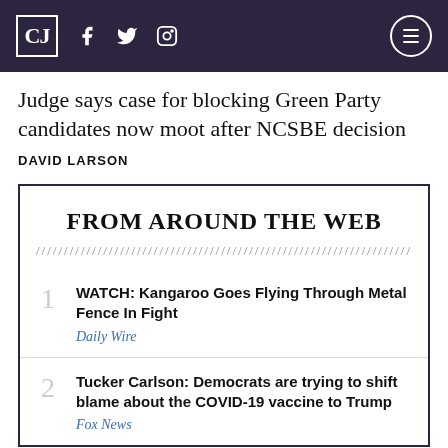CJ [logo] — social icons: f, Twitter, Instagram — hamburger menu
Judge says case for blocking Green Party candidates now moot after NCSBE decision
DAVID LARSON
FROM AROUND THE WEB
1. WATCH: Kangaroo Goes Flying Through Metal Fence In Fight — Daily Wire
2. Tucker Carlson: Democrats are trying to shift blame about the COVID-19 vaccine to Trump — Fox News